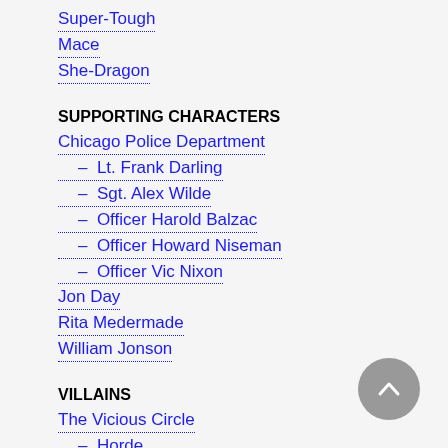Super-Tough
Mace
She-Dragon
SUPPORTING CHARACTERS
Chicago Police Department
– Lt. Frank Darling
– Sgt. Alex Wilde
– Officer Harold Balzac
– Officer Howard Niseman
– Officer Vic Nixon
Jon Day
Rita Medermade
William Jonson
VILLAINS
The Vicious Circle
– Horde
– CyberFace